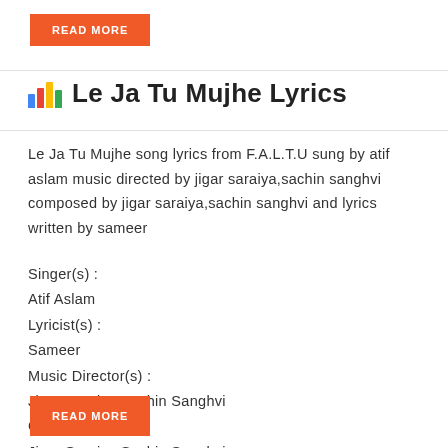READ MORE
Le Ja Tu Mujhe Lyrics
Le Ja Tu Mujhe song lyrics from F.A.L.T.U sung by atif aslam music directed by jigar saraiya,sachin sanghvi composed by jigar saraiya,sachin sanghvi and lyrics written by sameer
Singer(s) :
Atif Aslam
Lyricist(s) :
Sameer
Music Director(s) :
Jigar Saraiya,Sachin Sanghvi
Composer(s) :
Jigar Saraiya,Sachin Sanghvi
READ MORE